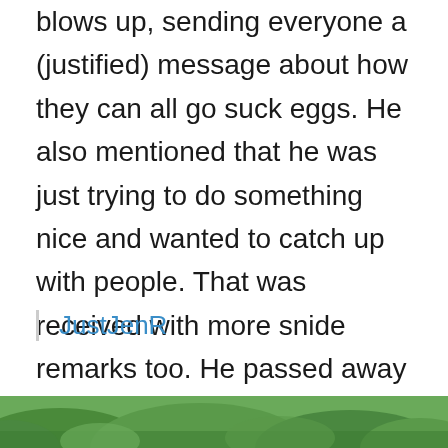blows up, sending everyone a (justified) message about how they can all go suck eggs. He also mentioned that he was just trying to do something nice and wanted to catch up with people. That was received with more snide remarks too. He passed away unexpectedly just a few months later.
JustJenR
[Figure (photo): Outdoor photo strip showing trees and greenery at the bottom of the page]